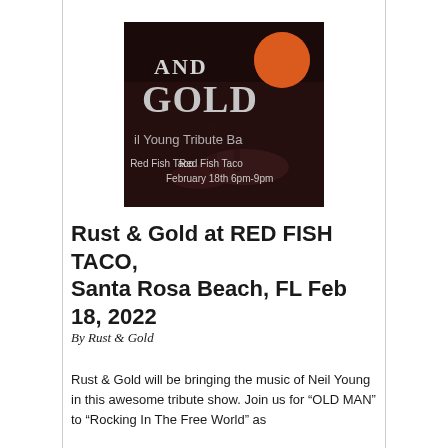[Figure (photo): Concert promotional image for Rust & Gold Neil Young Tribute Band showing text 'AND GOLD', 'il Young Tribute Ba', 'Red Fish Taco', 'February 18th 6pm-9pm' on a dark background with a red/orange moon and drums visible]
Rust & Gold at RED FISH TACO, Santa Rosa Beach, FL Feb 18, 2022
By Rust & Gold
Rust & Gold will be bringing the music of Neil Young in this awesome tribute show. Join us for “OLD MAN” to “Rocking In The Free World” as